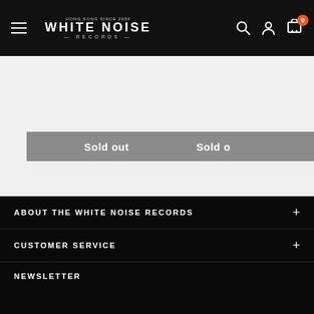WHITE NOISE RECORDS
Sold out
Sold o...
ABOUT THE WHITE NOISE RECORDS
CUSTOMER SERVICE
NEWSLETTER